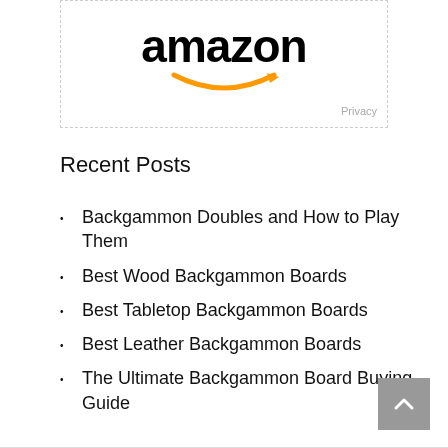[Figure (logo): Amazon logo with black text and orange smile arrow, inside a dashed border box with Privacy label in bottom right]
Recent Posts
Backgammon Doubles and How to Play Them
Best Wood Backgammon Boards
Best Tabletop Backgammon Boards
Best Leather Backgammon Boards
The Ultimate Backgammon Board Buying Guide